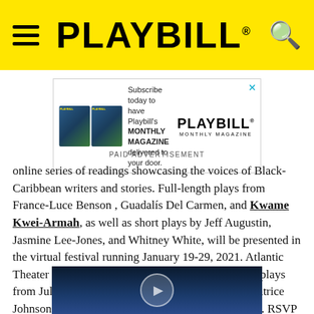PLAYBILL
[Figure (screenshot): Playbill Monthly Magazine subscription advertisement banner]
PAID ADVERTISEMENT
online series of readings showcasing the voices of Black-Caribbean writers and stories. Full-length plays from France-Luce Benson , Guadalís Del Carmen, and Kwame Kwei-Armah, as well as short plays by Jeff Augustin, Jasmine Lee-Jones, and Whitney White, will be presented in the virtual festival running January 19-29, 2021. Atlantic Theater additionally commissioned three new short plays from Julissa Contreras, Dane Figueroa Edidi, and Patrice Johnson Chevannes. Tickets for all readings are free. RSVP here.
[Figure (photo): Dark blue stage curtain background with circular play button icon]